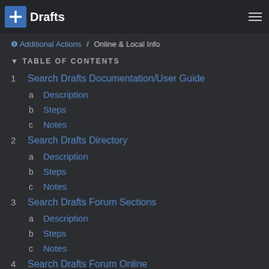Doctor Drafts
Additional Actions / Online & Local Info
▼ TABLE OF CONTENTS
1 Search Drafts Documentation/User Guide
a Description
b Steps
c Notes
2 Search Drafts Directory
a Description
b Steps
c Notes
3 Search Drafts Forum Sections
a Description
b Steps
c Notes
4 Search Drafts Forum Online